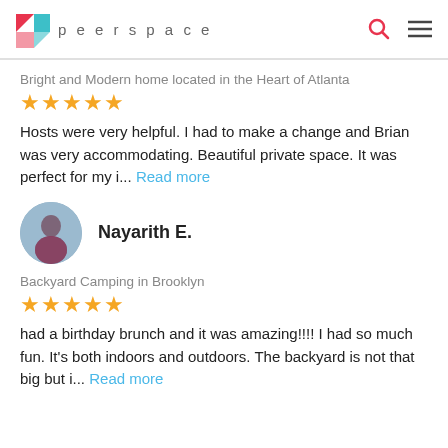peerspace
Bright and Modern home located in the Heart of Atlanta
★★★★★
Hosts were very helpful. I had to make a change and Brian was very accommodating. Beautiful private space. It was perfect for my i... Read more
Nayarith E.
Backyard Camping in Brooklyn
★★★★★
had a birthday brunch and it was amazing!!!! I had so much fun. It's both indoors and outdoors. The backyard is not that big but i... Read more